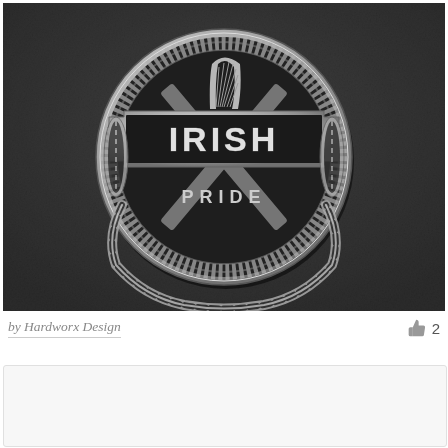[Figure (photo): A metallic 'Irish Pride' badge/logo embossed on a dark textured surface. The badge features a circular Celtic knotwork border, a banner reading 'IRISH' in large bold letters, and 'PRIDE' below in smaller letters, with a harp and crossed elements visible at the top.]
by Hardworx Design  👍 2